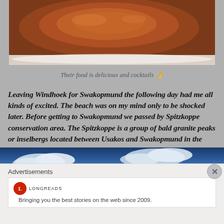[Figure (photo): Close-up photo of glazed food (meat) with dark brown sauce on a white plate, cropped at top]
Their food is delicious and cocktails 👌
Leaving Windhoek for Swakopmund the following day had me all kinds of excited. The beach was on my mind only to be shocked later. Before getting to Swakopmund we passed by Spitzkoppe conservation area. The Spitzkoppe is a group of bald granite peaks or inselbergs located between Usakos and Swakopmund in the Namib desert of Namibia. The peaks stand out dramatically from the flat surrounding plains. Bushmen artwork can be seen painted on the rock in the Spitzkoppe area. There also happens to be a campsite within the area though it neither has electricity nor running water and the network is weak. It's here that you'll find the arch as well.
[Figure (photo): Partial photo at bottom showing blue sky with clouds, partially obscured by advertisement overlay]
Advertisements
[Figure (screenshot): Longreads advertisement: logo with red circle L, text 'LONGREADS', tagline 'Bringing you the best stories on the web since 2009.']